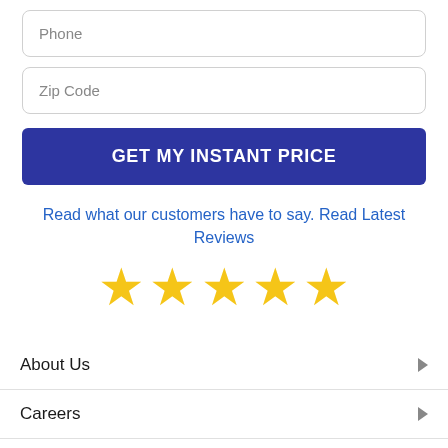Phone
Zip Code
GET MY INSTANT PRICE
Read what our customers have to say. Read Latest Reviews
[Figure (other): Five gold star rating icons displayed in a row]
About Us
Careers